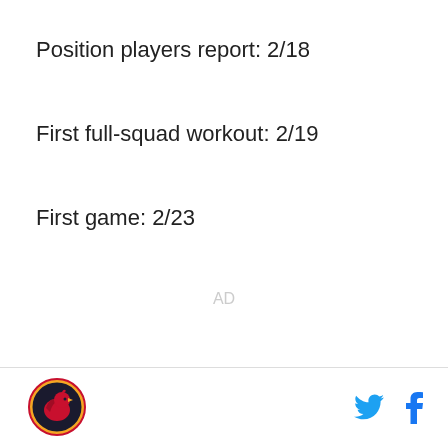Position players report: 2/18
First full-squad workout: 2/19
First game: 2/23
AD
[Figure (logo): Arizona Cardinals logo circular badge]
[Figure (other): Twitter bird icon and Facebook f icon social media share buttons]